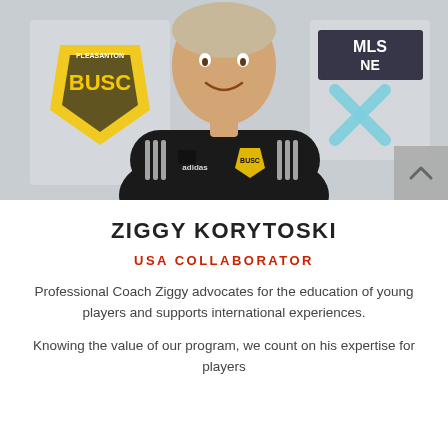[Figure (photo): Professional headshot of Ziggy Korytoski, a middle-aged man in a black Adidas soccer polo with BUSC and MLS NEXT logos, arms crossed, smiling, standing in front of Pleasanton BUSC and MLS NEXT banners.]
ZIGGY KORYTOSKI
USA COLLABORATOR
Professional Coach Ziggy advocates for the education of young players and supports international experiences.
Knowing the value of our program, we count on his expertise for players